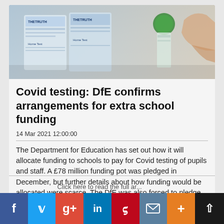[Figure (photo): Photo of Covid home test kit boxes and a vial being held by a hand, with 'THETRUTH' text visible on packaging]
Covid testing: DfE confirms arrangements for extra school funding
14 Mar 2021 12:00:00
The Department for Education has set out how it will allocate funding to schools to pay for Covid testing of pupils and staff. A £78 million funding pot was pledged in December, but further details about how funding would be allocated were scarce. The DfE was also forced to pledge to reimburse schools that stood to lose out on funding after a last-minute change to the way allocations are calculated, as revealed by Schools Week last week. Here's what we know about the ...
Click here to read the full ar...